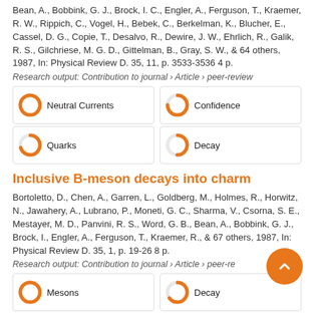Bean, A., Bobbink, G. J., Brock, I. C., Engler, A., Ferguson, T., Kraemer, R. W., Rippich, C., Vogel, H., Bebek, C., Berkelman, K., Blucher, E., Cassel, D. G., Copie, T., Desalvo, R., Dewire, J. W., Ehrlich, R., Galik, R. S., Gilchriese, M. G. D., Gittelman, B., Gray, S. W., & 64 others, 1987, In: Physical Review D. 35, 11, p. 3533-3536 4 p.
Research output: Contribution to journal › Article › peer-review
[Figure (infographic): Four keyword badges: Neutral Currents (100% filled orange donut), Confidence (75% filled orange donut), Quarks (70% filled orange donut), Decay (50% filled orange donut)]
Inclusive B-meson decays into charm
Bortoletto, D., Chen, A., Garren, L., Goldberg, M., Holmes, R., Horwitz, N., Jawahery, A., Lubrano, P., Moneti, G. C., Sharma, V., Csorna, S. E., Mestayer, M. D., Panvini, R. S., Word, G. B., Bean, A., Bobbink, G. J., Brock, I., Engler, A., Ferguson, T., Kraemer, R., & 67 others, 1987, In: Physical Review D. 35, 1, p. 19-26 8 p.
Research output: Contribution to journal › Article › peer-review
[Figure (infographic): Two keyword badges visible at bottom: Mesons (100% filled orange donut), Decay (65% filled orange donut)]